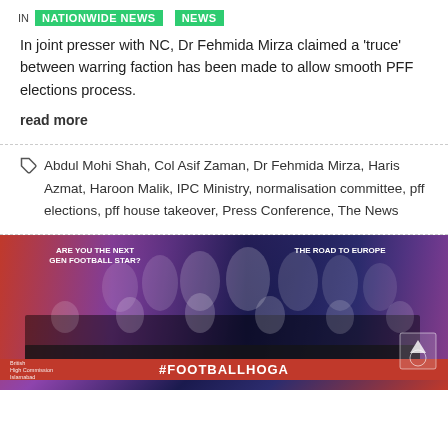IN NATIONWIDE NEWS NEWS
In joint presser with NC, Dr Fehmida Mirza claimed a 'truce' between warring faction has been made to allow smooth PFF elections process.
read more
Abdul Mohi Shah, Col Asif Zaman, Dr Fehmida Mirza, Haris Azmat, Haroon Malik, IPC Ministry, normalisation committee, pff elections, pff house takeover, Press Conference, The News
[Figure (photo): Press conference photo with several people seated at a long table in front of a red and purple banner reading 'ARE YOU THE NEXT GEN FOOTBALL STAR?' and 'THE ROAD TO EUROPE'. Bottom of image shows '#FOOTBALLHOGA' text on red background, with British High Commission Islamabad logo bottom left.]